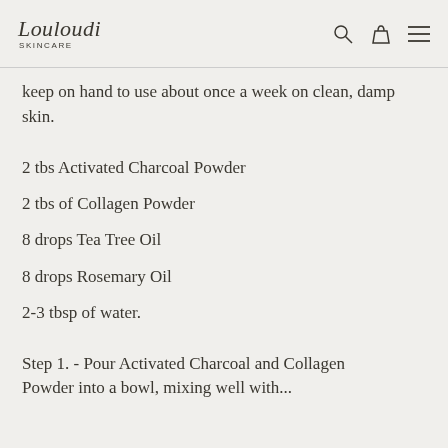Louloudi SKINCARE
keep on hand to use about once a week on clean, damp skin.
2 tbs Activated Charcoal Powder
2 tbs of Collagen Powder
8 drops Tea Tree Oil
8 drops Rosemary Oil
2-3 tbsp of water.
Step 1. - Pour Activated Charcoal and Collagen Powder into a bowl, mixing well with...